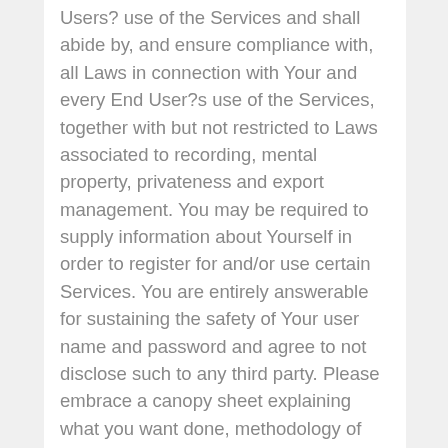Users? use of the Services and shall abide by, and ensure compliance with, all Laws in connection with Your and every End User?s use of the Services, together with but not restricted to Laws associated to recording, mental property, privateness and export management. You may be required to supply information about Yourself in order to register for and/or use certain Services. You are entirely answerable for sustaining the safety of Your user name and password and agree to not disclose such to any third party. Please embrace a canopy sheet explaining what you want done, methodology of fee, and whether a Temporary Vehicle Clearance will be wanted. There is a $18.00 for every TVC in addition to the registration and administration fees. If all required data is included and the fees are paid, the identification can be ready for pick-up at the counter, could be mailed, or a TVC